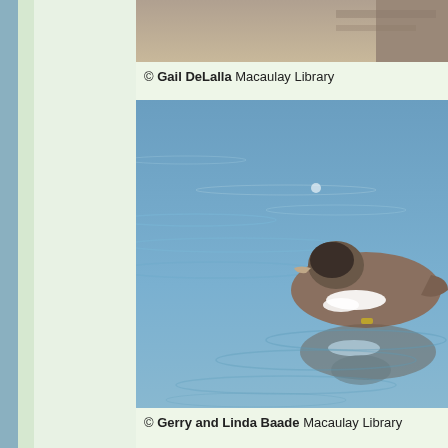[Figure (photo): Partial cropped photo of a bird - upper portion only visible, showing what appears to be a duck or waterbird, cropped at top of page]
© Gail DeLalla Macaulay Library
[Figure (photo): A waterbird (duck/grebe) swimming on blue water with ripples, showing brown/grey plumage with white wing patches, reflection visible in water. Photo by Gerry and Linda Baade from Macaulay Library.]
© Gerry and Linda Baade Macaulay Library